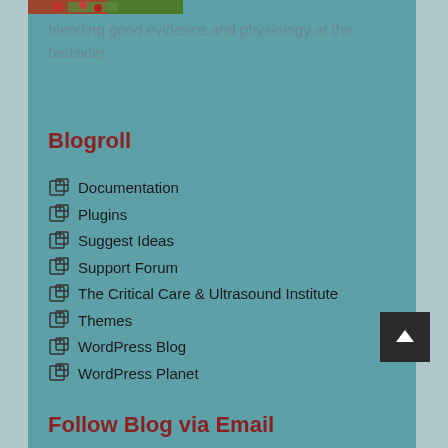[Figure (photo): Partial image of red flowers/berries with green leaves at top of page]
blending good evidence and physiology at the bedside!
Blogroll
Documentation
Plugins
Suggest Ideas
Support Forum
The Critical Care & Ultrasound Institute
Themes
WordPress Blog
WordPress Planet
Follow Blog via Email